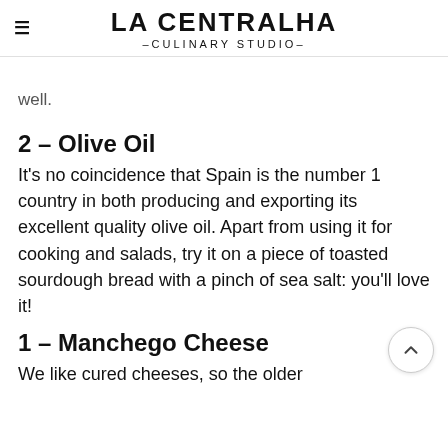LA CENTRALHA – CULINARY STUDIO –
…previously, try it, keep well.
2 – Olive Oil
It's no coincidence that Spain is the number 1 country in both producing and exporting its excellent quality olive oil. Apart from using it for cooking and salads, try it on a piece of toasted sourdough bread with a pinch of sea salt: you'll love it!
1 – Manchego Cheese
We like cured cheeses, so the older